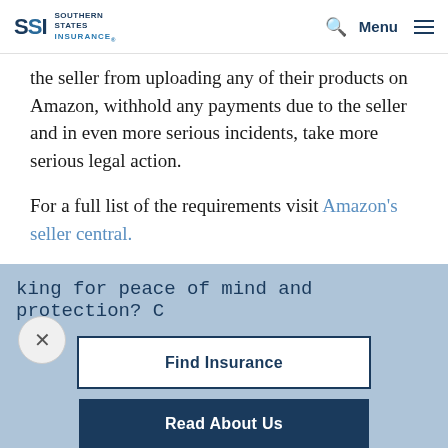SSI Southern States Insurance — Menu
the seller from uploading any of their products on Amazon, withhold any payments due to the seller and in even more serious incidents, take more serious legal action.
For a full list of the requirements visit Amazon's seller central.
king for peace of mind and protection? C
Find Insurance
Read About Us